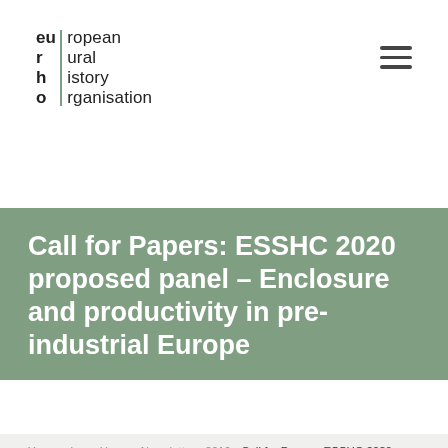[Figure (logo): European Rural History Organisation logo with green vertical bar divider and bold eu/r/h/o letters]
Call for Papers: ESSHC 2020 proposed panel – Enclosure and productivity in pre-industrial Europe
You are here: Home › Newsletter › 2019 › Call for Papers: ESSHC 2020 proposed panel – Enclosure and productivity in pre-industrial Europe
RHN 50/2019 | Call